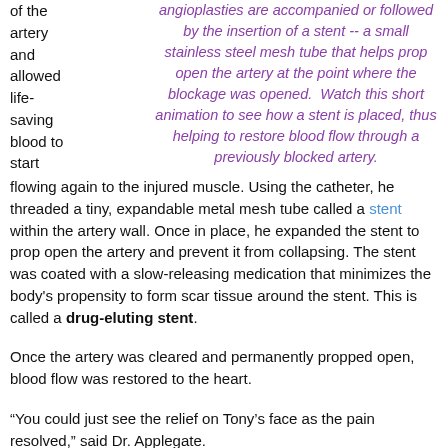of the artery and allowed life-saving blood to start flowing again to the injured muscle. Using the catheter, he threaded a tiny, expandable metal mesh tube called a stent within the artery wall. Once in place, he expanded the stent to prop open the artery and prevent it from collapsing. The stent was coated with a slow-releasing medication that minimizes the body's propensity to form scar tissue around the stent. This is called a drug-eluting stent.
angioplasties are accompanied or followed by the insertion of a stent -- a small stainless steel mesh tube that helps prop open the artery at the point where the blockage was opened.  Watch this short animation to see how a stent is placed, thus helping to restore blood flow through a previously blocked artery.
Once the artery was cleared and permanently propped open, blood flow was restored to the heart.
“You could just see the relief on Tony’s face as the pain resolved,” said Dr. Applegate.
Tony had survived the widow-maker. He had literally come back